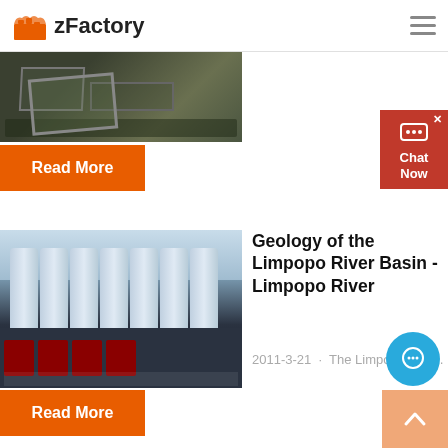zFactory
[Figure (photo): Partial view of industrial/agricultural machinery outdoors, dark tones]
Read More
[Figure (photo): Industrial facility with large silver/metallic silos and dark building facade]
Geology of the Limpopo River Basin - Limpopo River
2011-3-21 · The Limpopo Bas. T...
Read More